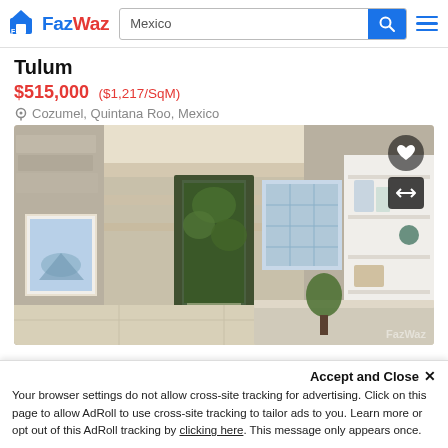FazWaz — Mexico (search bar with navigation)
Tulum
$515,000 ($1,217/SqM)
Cozumel, Quintana Roo, Mexico
[Figure (photo): Interior render of a luxurious stone-walled room with wooden beam ceiling, artwork on left wall, green plant wall visible through doorway, blue patterned tile accent wall, built-in white shelving on right, and marble counter in foreground. FazWaz watermark in bottom-right.]
Accept and Close ×
Your browser settings do not allow cross-site tracking for advertising. Click on this page to allow AdRoll to use cross-site tracking to tailor ads to you. Learn more or opt out of this AdRoll tracking by clicking here. This message only appears once.